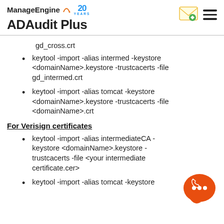ManageEngine 20 YEARS — ADAudit Plus
gd_cross.crt
keytool -import -alias intermed -keystore <domainName>.keystore -trustcacerts -file gd_intermed.crt
keytool -import -alias tomcat -keystore <domainName>.keystore -trustcacerts -file <domainName>.crt
For Verisign certificates
keytool -import -alias intermediateCA -keystore <domainName>.keystore -trustcacerts -file <your intermediate certificate.cer>
keytool -import -alias tomcat -keystore